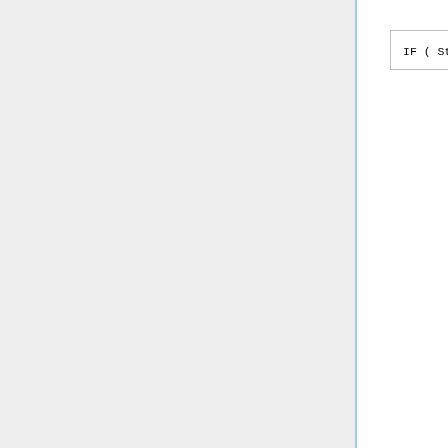where -0.13917e+0_fp = COS(98 degrees) This looks like it has the desired effect, as species with sharp gradients across the terminator (eg: Br, BrO), are now more "rounded" and look much more like GMI (which also allows SZA down to 98 degrees). This also eliminates the problem with the non-conservation of bromine family species in the mesosphere due to transport across the terminator (ie, the sharp edges of a square wave)